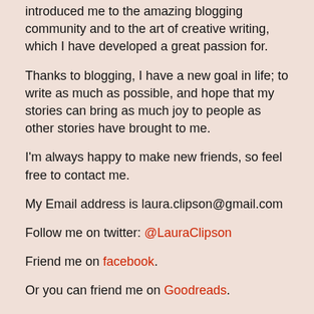introduced me to the amazing blogging community and to the art of creative writing, which I have developed a great passion for.
Thanks to blogging, I have a new goal in life; to write as much as possible, and hope that my stories can bring as much joy to people as other stories have brought to me.
I'm always happy to make new friends, so feel free to contact me.
My Email address is laura.clipson@gmail.com
Follow me on twitter: @LauraClipson
Friend me on facebook.
Or you can friend me on Goodreads.